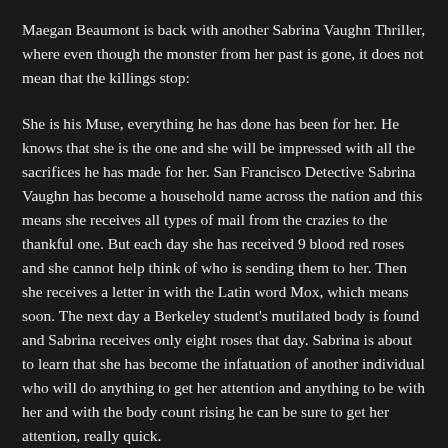Maegan Beaumont is back with another Sabrina Vaughn Thriller, where even though the monster from her past is gone, it does not mean that the killings stop:
She is his Muse, everything he has done has been for her. He knows that she is the one and she will be impressed with all the sacrifices he has made for her. San Francisco Detective Sabrina Vaughn has become a household name across the nation and this means she receives all types of mail from the crazies to the thankful one. But each day she has received 9 blood red roses and she cannot help think of who is sending them to her. Then she receives a letter in with the Latin word Mox, which means soon. The next day a Berkeley student's mutilated body is found and Sabrina receives only eight roses that day. Sabrina is about to learn that she has become the infatuation of another individual who will do anything to get her attention and anything to be with her and with the body count rising he can be sure to get her attention, really quick.
Beaumont's debut novel Carved in Darkness is one of the best debut novels I have ever read in the thriller genre. So you can say that my expectations were set very high for her sophomore follow up novel. Personally, I do not think that this novel was as good as her debut. This is not to say I did not enjoy the novel it was still very entertaining and well written but there was an aspect missing from the first novel and that was more of the personal involvement of Sabrina. Yes, since the first novel all the exciting adventures are part of the novel but there is also